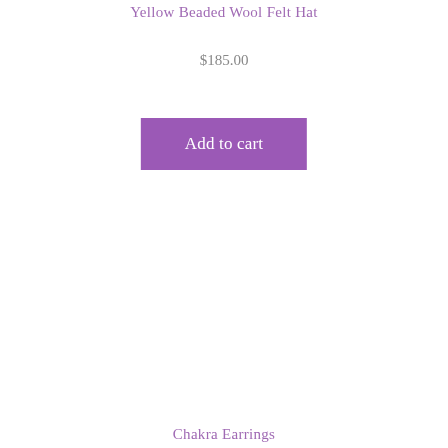Yellow Beaded Wool Felt Hat
$185.00
Add to cart
Chakra Earrings